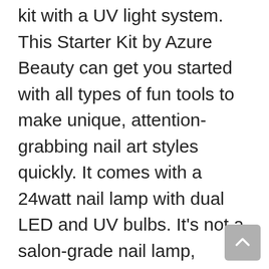kit with a UV light system. This Starter Kit by Azure Beauty can get you started with all types of fun tools to make unique, attention-grabbing nail art styles quickly. It comes with a 24watt nail lamp with dual LED and UV bulbs. It's not a salon-grade nail lamp, however excellent for beginners.
It'll positively get the work finished on your home gel nails and has 3 pre-set timers to decide on from. At the side of an Azure Beauty top coat and base coat. You will get 4 gel polishes one pink creme, 2 glitters, and one temperature-changing glitter polish. The kit comes